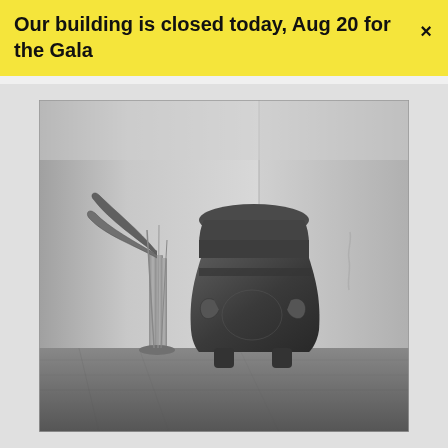Our building is closed today, Aug 20 for the Gala
[Figure (photo): Black and white photograph of a large ancient ceramic vessel or urn with figural relief decorations sitting on a wooden floor in a corner of a room, next to a tall glass vase containing large dried leaves or plant stalks. A small wisp of smoke or feather is visible on the right side. The room has plain white walls meeting at a corner.]